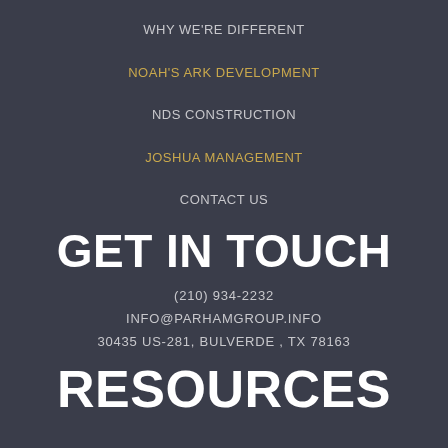WHY WE'RE DIFFERENT
NOAH'S ARK DEVELOPMENT
NDS CONSTRUCTION
JOSHUA MANAGEMENT
CONTACT US
GET IN TOUCH
(210) 934-2232
INFO@PARHAMGROUP.INFO
30435 US-281, BULVERDE , TX 78163
RESOURCES